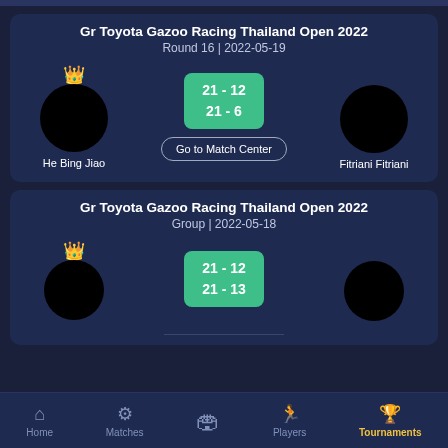[Figure (screenshot): Match card 1: Gr Toyota Gazoo Racing Thailand Open 2022, Round 16 | 2022-05-19. He Bing Jiao (winner, crown icon) vs Fitriani Fitriani. Score: 21-12, 21-6. Go to Match Center button.]
[Figure (screenshot): Match card 2: Gr Toyota Gazoo Racing Thailand Open 2022, Group | 2022-05-18. Player with crown vs another player. Score: 21-12, 21-13.]
Home | Matches | [center icon] | Players | Tournaments